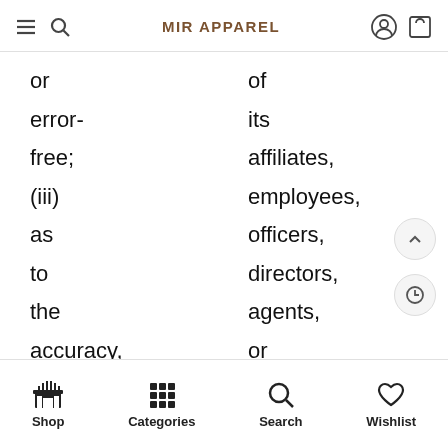MIR APPAREL
or error-free; (iii) as to the accuracy, reliability, or currency of any information
of its affiliates, employees, officers, directors, agents, or the like will create a warranty.
Shop  Categories  Search  Wishlist